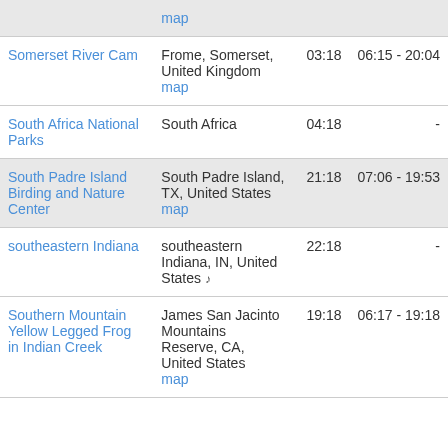| Name | Location | Time | Range |
| --- | --- | --- | --- |
| map |  |  |  |
| Somerset River Cam | Frome, Somerset, United Kingdom map | 03:18 | 06:15 - 20:04 |
| South Africa National Parks | South Africa | 04:18 | - |
| South Padre Island Birding and Nature Center | South Padre Island, TX, United States map | 21:18 | 07:06 - 19:53 |
| southeastern Indiana | southeastern Indiana, IN, United States ♩ | 22:18 | - |
| Southern Mountain Yellow Legged Frog in Indian Creek | James San Jacinto Mountains Reserve, CA, United States map | 19:18 | 06:17 - 19:18 |